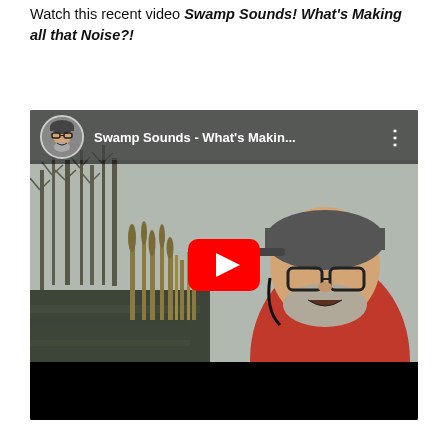Watch this recent video Swamp Sounds! What's Making all that Noise?!
[Figure (screenshot): YouTube video thumbnail showing a man in a bicycle helmet and glasses standing in a swamp, wearing a red shirt. The video title reads 'Swamp Sounds - What's Makin...' with a YouTube play button overlay in the center.]